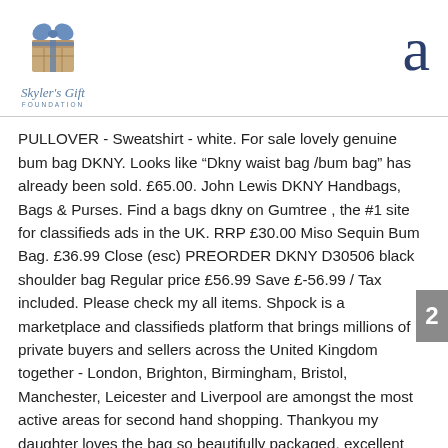[Figure (logo): Skyler's Gift Foundation logo with blue bow and wrapped gift box icon, italic script text 'Skyler's Gift' and 'FOUNDATION' below]
a
PULLOVER - Sweatshirt - white. For sale lovely genuine bum bag DKNY. Looks like “Dkny waist bag /bum bag” has already been sold. £65.00. John Lewis DKNY Handbags, Bags & Purses. Find a bags dkny on Gumtree , the #1 site for classifieds ads in the UK. RRP £30.00 Miso Sequin Bum Bag. £36.99 Close (esc) PREORDER DKNY D30506 black shoulder bag Regular price £56.99 Save £-56.99 / Tax included. Please check my all items. Shpock is a marketplace and classifieds platform that brings millions of private buyers and sellers across the United Kingdom together - London, Brighton, Birmingham, Bristol, Manchester, Leicester and Liverpool are amongst the most active areas for second hand shopping. Thankyou my daughter loves the bag so beautifully packaged, excellent